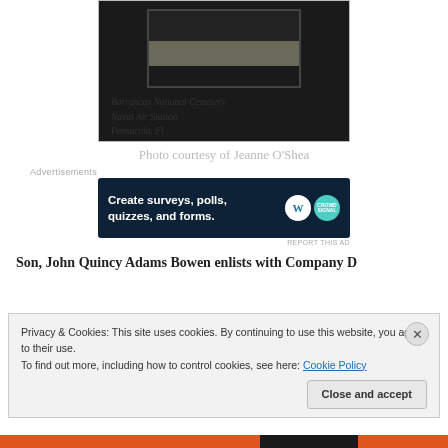[Figure (photo): Photograph of a gravestone or military monument at Barrancas National Cemetery, Naval Air Station, Pensacola, FL. Handwritten label reads: Barrancas National Cemetery / Naval Air Station / Pensacola, Fl]
Photo courtesy of Jeanne O'Shea
[Figure (screenshot): Advertisement banner: Create surveys, polls, quizzes, and forms. WordPress and CrowdSignal logos shown on dark blue background.]
REPORT THIS AD
Son, John Quincy Adams Bowen enlists with Company D
Privacy & Cookies: This site uses cookies. By continuing to use this website, you agree to their use.
To find out more, including how to control cookies, see here: Cookie Policy
Close and accept